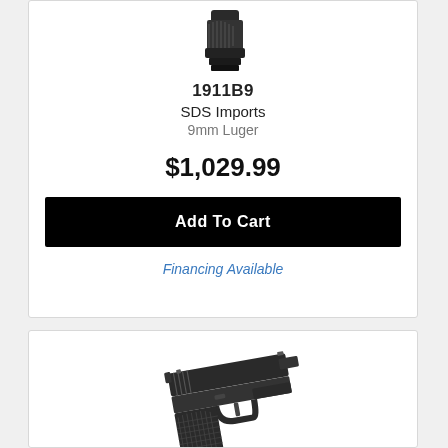[Figure (photo): Partial top view of a black pistol handgun (bottom portion cropped)]
1911B9
SDS Imports
9mm Luger
$1,029.99
Add To Cart
Financing Available
[Figure (photo): Black 1911-style semi-automatic pistol shown from left side, with textured grips, tilted at an angle against white background]